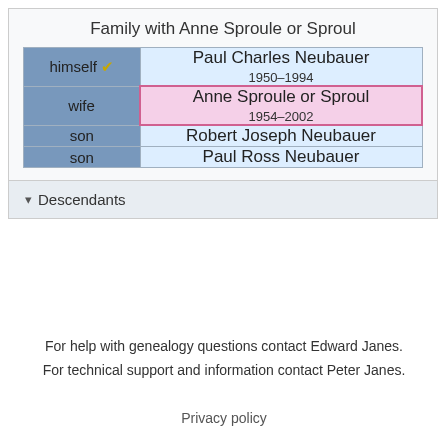Family with Anne Sproule or Sproul
| Role | Person |
| --- | --- |
| himself ✔ | Paul Charles Neubauer
1950–1994 |
| wife | Anne Sproule or Sproul
1954–2002 |
| son | Robert Joseph Neubauer |
| son | Paul Ross Neubauer |
▾ Descendants
For help with genealogy questions contact Edward Janes.
For technical support and information contact Peter Janes.
Privacy policy